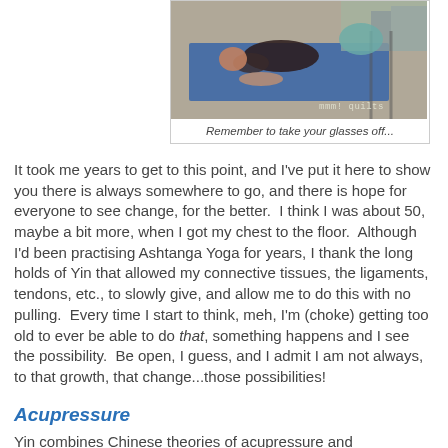[Figure (photo): Person lying face down on a blue yoga mat, chest and chin on the floor, appearing relaxed in a yoga pose. Indoor/outdoor space visible in background. Watermark reads 'mmm! quilts'.]
Remember to take your glasses off...
It took me years to get to this point, and I've put it here to show you there is always somewhere to go, and there is hope for everyone to see change, for the better.  I think I was about 50, maybe a bit more, when I got my chest to the floor.  Although I'd been practising Ashtanga Yoga for years, I thank the long holds of Yin that allowed my connective tissues, the ligaments, tendons, etc., to slowly give, and allow me to do this with no pulling.  Every time I start to think, meh, I'm (choke) getting too old to ever be able to do that, something happens and I see the possibility.  Be open, I guess, and I admit I am not always, to that growth, that change...those possibilities!
Acupressure
Yin combines Chinese theories of acupressure and